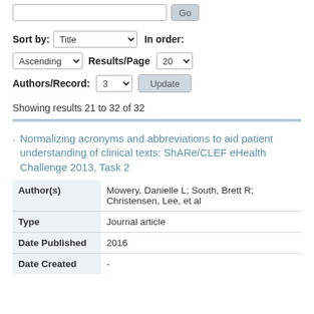Sort by: Title  In order: Ascending  Results/Page 20  Authors/Record: 3  Update
Showing results 21 to 32 of 32
· Normalizing acronyms and abbreviations to aid patient understanding of clinical texts: ShARe/CLEF eHealth Challenge 2013, Task 2
|  |  |
| --- | --- |
| Author(s) | Mowery, Danielle L; South, Brett R; Christensen, Lee, et al |
| Type | Journal article |
| Date Published | 2016 |
| Date Created | - |